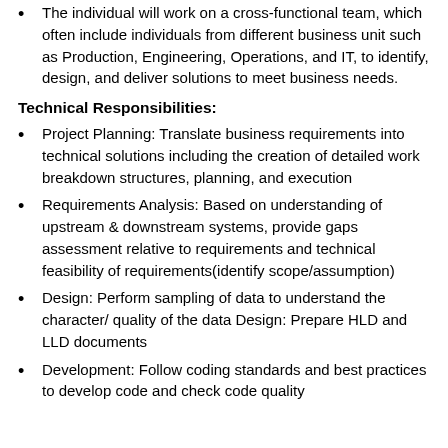The individual will work on a cross-functional team, which often include individuals from different business unit such as Production, Engineering, Operations, and IT, to identify, design, and deliver solutions to meet business needs.
Technical Responsibilities:
Project Planning: Translate business requirements into technical solutions including the creation of detailed work breakdown structures, planning, and execution
Requirements Analysis: Based on understanding of upstream & downstream systems, provide gaps assessment relative to requirements and technical feasibility of requirements(identify scope/assumption)
Design: Perform sampling of data to understand the character/ quality of the data Design: Prepare HLD and LLD documents
Development: Follow coding standards and best practices to develop code and check code quality